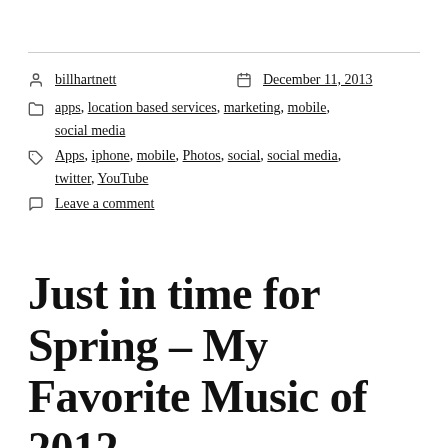billhartnett   December 11, 2013
apps, location based services, marketing, mobile, social media
Apps, iphone, mobile, Photos, social, social media, twitter, YouTube
Leave a comment
Just in time for Spring – My Favorite Music of 2012
I saw the first Best of 2012 Music list a few days before Thanksgiving . It seemed premature and incomplete as